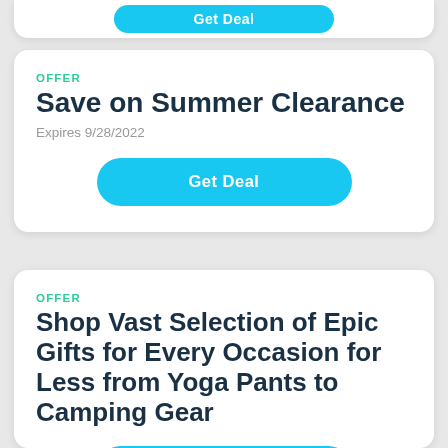[Figure (screenshot): Partial card at top showing a 'Get Deal' button in blue]
OFFER
Save on Summer Clearance
Expires 9/28/2022
Get Deal
OFFER
Shop Vast Selection of Epic Gifts for Every Occasion for Less from Yoga Pants to Camping Gear
Get Deal